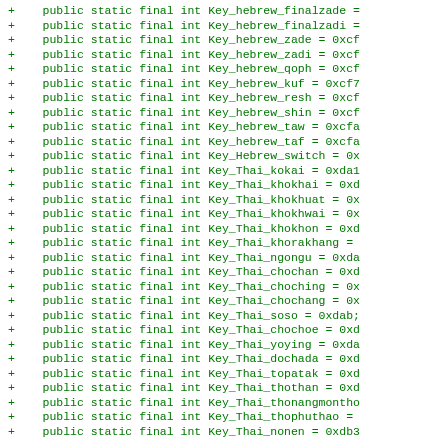+ public static final int Key_hebrew_finalzade =
+ public static final int Key_hebrew_finalzadi =
+ public static final int Key_hebrew_zade = 0xcf
+ public static final int Key_hebrew_zadi = 0xcf
+ public static final int Key_hebrew_qoph = 0xcf
+ public static final int Key_hebrew_kuf = 0xcf7
+ public static final int Key_hebrew_resh = 0xcf
+ public static final int Key_hebrew_shin = 0xcf
+ public static final int Key_hebrew_taw = 0xcfa
+ public static final int Key_hebrew_taf = 0xcfa
+ public static final int Key_Hebrew_switch = 0x
+ public static final int Key_Thai_kokai = 0xda1
+ public static final int Key_Thai_khokhai = 0xd
+ public static final int Key_Thai_khokhuat = 0x
+ public static final int Key_Thai_khokhwai = 0x
+ public static final int Key_Thai_khokhon = 0xd
+ public static final int Key_Thai_khorakhang =
+ public static final int Key_Thai_ngongu = 0xda
+ public static final int Key_Thai_chochan = 0xd
+ public static final int Key_Thai_choching = 0x
+ public static final int Key_Thai_chochang = 0x
+ public static final int Key_Thai_soso = 0xdab;
+ public static final int Key_Thai_chochoe = 0xd
+ public static final int Key_Thai_yoying = 0xda
+ public static final int Key_Thai_dochada = 0xd
+ public static final int Key_Thai_topatak = 0xd
+ public static final int Key_Thai_thothan = 0xd
+ public static final int Key_Thai_thonangmontho
+ public static final int Key_Thai_thophuthao =
+ public static final int Key_Thai_nonen = 0xdb3